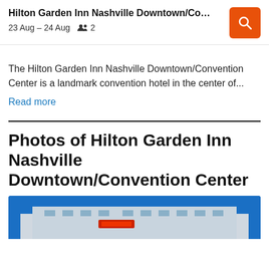Hilton Garden Inn Nashville Downtown/Conv…
23 Aug – 24 Aug  👥 2
The Hilton Garden Inn Nashville Downtown/Convention Center is a landmark convention hotel in the center of…
Read more
Photos of Hilton Garden Inn Nashville Downtown/Convention Center
[Figure (photo): Exterior photo of Hilton Garden Inn Nashville Downtown/Convention Center building with blue sky background]